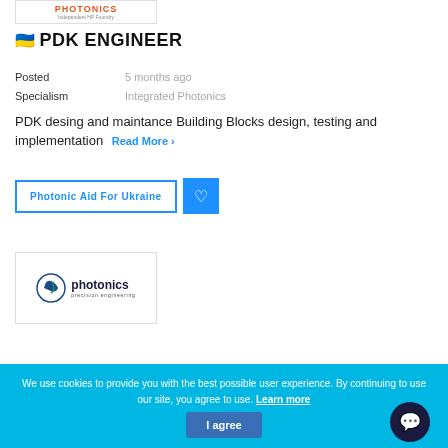[Figure (logo): Company logo at top - orange/red text logo with 'Independent HP Foundry' subtitle]
🇺🇦 PDK ENGINEER
Posted   5 months ago
Specialism   Integrated Photonics
PDK desing and maintance Building Blocks design, testing and implementation  Read More ›
Photonic Aid For Ukraine
[Figure (logo): Photonics precision engineering logo with circular swoosh icon]
We use cookies to provide you with the best possible user experience. By continuing to use our site, you agree to use. Learn more   I agree